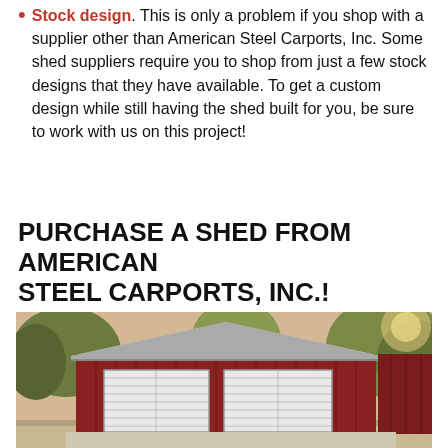Stock design. This is only a problem if you shop with a supplier other than American Steel Carports, Inc. Some shed suppliers require you to shop from just a few stock designs that they have available. To get a custom design while still having the shed built for you, be sure to work with us on this project!
PURCHASE A SHED FROM AMERICAN STEEL CARPORTS, INC.!
[Figure (photo): Photo of a red metal shed/garage building with two white roll-up doors, a gabled roof, set on a gravel/concrete pad with trees visible in the background.]